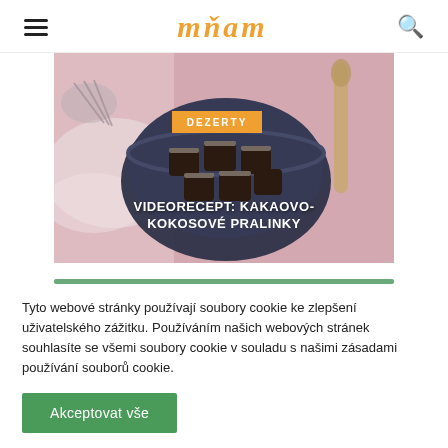mňam
[Figure (photo): Hero image of kakaovo-kokosové pralinky (chocolate coconut pralines) in a dark bowl on a pink background with powdered sugar and a wooden spoon. Orange badge reading DEZERTY. White title text: VIDEORECEPT: KAKAOVO-KOKOSOVÉ PRALINKY]
Tyto webové stránky používají soubory cookie ke zlepšení uživatelského zážitku. Používáním našich webových stránek souhlasíte se všemi soubory cookie v souladu s našimi zásadami používání souborů cookie.
Akceptovat vše